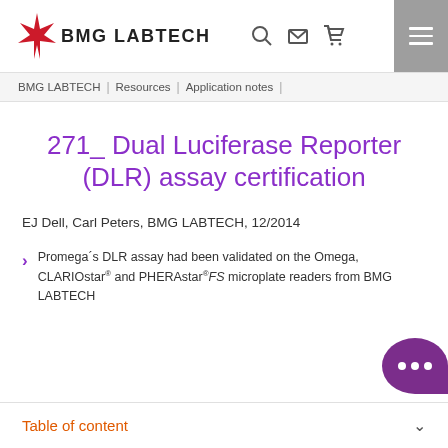[Figure (logo): BMG LABTECH logo with red star icon and bold text BMG LABTECH]
BMG LABTECH | Resources | Application notes |
271_ Dual Luciferase Reporter (DLR) assay certification
EJ Dell, Carl Peters, BMG LABTECH, 12/2014
Promega´s DLR assay had been validated on the Omega, CLARIOstar® and PHERAstar®FS microplate readers from BMG LABTECH
Table of content